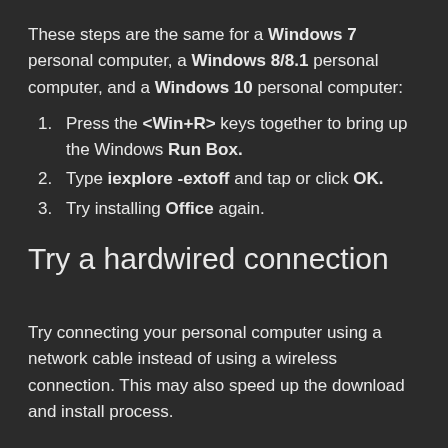These steps are the same for a Windows 7 personal computer, a Windows 8/8.1 personal computer, and a Windows 10 personal computer:
Press the <Win+R> keys together to bring up the Windows Run Box.
Type iexplore -extoff and tap or click OK.
Try installing Office again.
Try a hardwired connection
Try connecting your personal computer using a network cable instead of using a wireless connection. This may also speed up the download and install process.